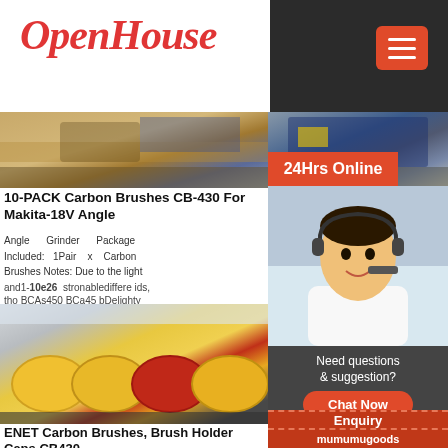OpenHouse
[Figure (photo): Bulldozer working on sandy/dirt construction site]
10-PACK Carbon Brushes CB-430 For Makita-18V Angle
Angle Grinder Package Included: 1Pair x Carbon Angle Brushes Notes: Due to the light and1-10e26 stronablediffere ids, tho BCAs450 BCa45 bDelighty
[Figure (photo): Blue mining/crushing machine on rocky terrain]
Carbon Brushes for MAKITA G-- ?x?x?mm
withdrawal, Two Buildalc with cables,
[Figure (photo): Yellow industrial ball mill machines in factory]
ENET Carbon Brushes, Brush Holder Caps CB430
caused by many factors such as brightness of your monitor and
[Figure (photo): Yellow industrial equipment/construction machinery]
Carbon Bru for Makita Assortment:
brushes at
[Figure (photo): Customer service agent woman with headset smiling]
24Hrs Online
Need questions & suggestion?
Chat Now
Enquiry
mumumugoods